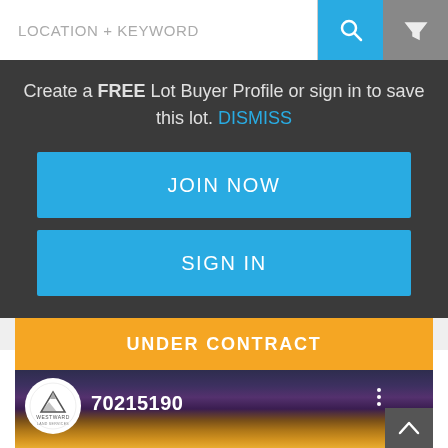LOCATION + KEYWORD
Create a FREE Lot Buyer Profile or sign in to save this lot. DISMISS
JOIN NOW
SIGN IN
UNDER CONTRACT
70215190
[Figure (screenshot): Mobile app screenshot showing a search bar with LOCATION + KEYWORD placeholder, a dark modal overlay prompting user to create a free Lot Buyer Profile or sign in to save the lot, with JOIN NOW and SIGN IN blue buttons, and below an orange UNDER CONTRACT banner with a landscape property listing card showing listing id 70215190 and a Westward Land Services logo.]